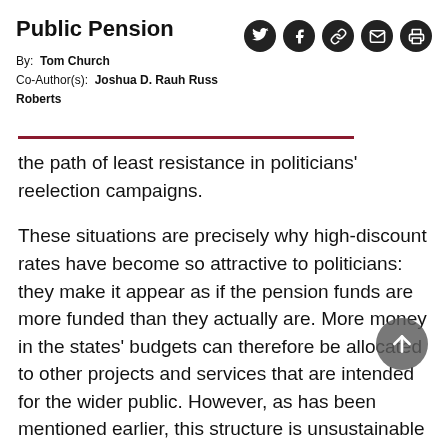Public Pension
By:  Tom Church
Co-Author(s):  Joshua D. Rauh Russ Roberts
the path of least resistance in politicians' reelection campaigns.
These situations are precisely why high-discount rates have become so attractive to politicians: they make it appear as if the pension funds are more funded than they actually are. More money in the states' budgets can therefore be allocated to other projects and services that are intended for the wider public. However, as has been mentioned earlier, this structure is unsustainable over time and places